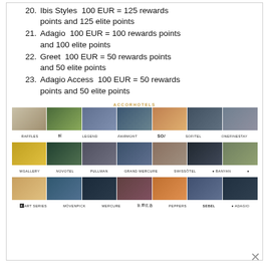20. Ibis Styles  100 EUR = 125 rewards points and 125 elite points
21. Adagio  100 EUR = 100 rewards points and 100 elite points
22. Greet  100 EUR = 50 rewards points and 50 elite points
23. Adagio Access  100 EUR = 50 rewards points and 50 elite points
[Figure (illustration): AccorHotels promotional image showing a grid of hotel brand photos and logos including Raffles, Fairmont, SO/, Sofitel, onefinestay, MGallery, Novotel, Pullman, Grand Mercure, Swissôtel, Banyan Tree, Art Series, Mövenpick, Mercure, 首席优选, Peppers, Sebel, adagio]